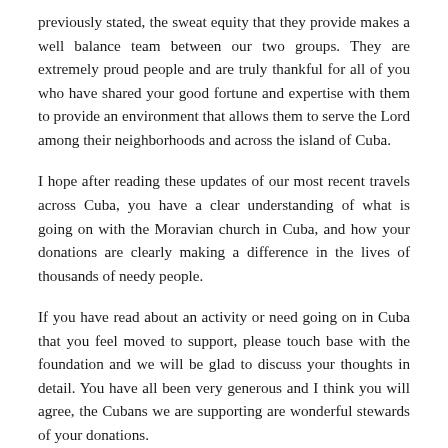previously stated, the sweat equity that they provide makes a well balance team between our two groups. They are extremely proud people and are truly thankful for all of you who have shared your good fortune and expertise with them to provide an environment that allows them to serve the Lord among their neighborhoods and across the island of Cuba.
I hope after reading these updates of our most recent travels across Cuba, you have a clear understanding of what is going on with the Moravian church in Cuba, and how your donations are clearly making a difference in the lives of thousands of needy people.
If you have read about an activity or need going on in Cuba that you feel moved to support, please touch base with the foundation and we will be glad to discuss your thoughts in detail. You have all been very generous and I think you will agree, the Cubans we are supporting are wonderful stewards of your donations.